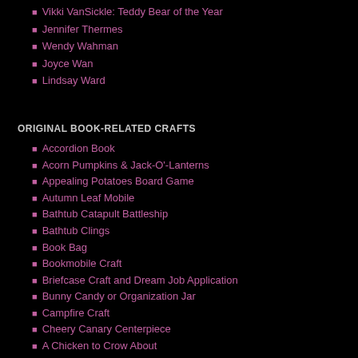Vikki VanSickle: Teddy Bear of the Year
Jennifer Thermes
Wendy Wahman
Joyce Wan
Lindsay Ward
ORIGINAL BOOK-RELATED CRAFTS
Accordion Book
Acorn Pumpkins & Jack-O'-Lanterns
Appealing Potatoes Board Game
Autumn Leaf Mobile
Bathtub Catapult Battleship
Bathtub Clings
Book Bag
Bookmobile Craft
Briefcase Craft and Dream Job Application
Bunny Candy or Organization Jar
Campfire Craft
Cheery Canary Centerpiece
A Chicken to Crow About
Child's Sensory Board
Chrysalis to Butterfly Activity
Come Inside! Cardboard Box Playhouse